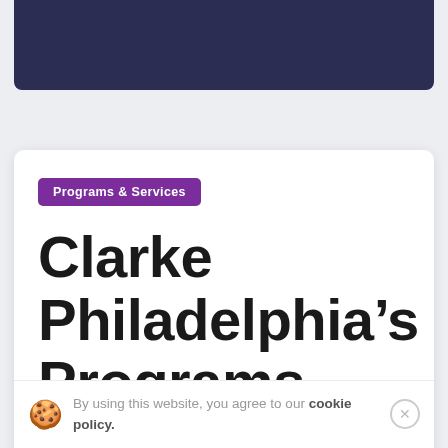Programs & Services
Clarke Philadelphia's Programs and
By using this website, you agree to our cookie policy.